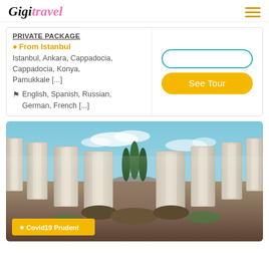Gigi travel (logo) + hamburger menu
PRIVATE PACKAGE
From Istanbul
Istanbul, Ankara, Cappadocia, Cappadocia, Konya, Pamukkale [...]
English, Spanish, Russian, German, French [...]
[Figure (screenshot): Teal outline rounded rectangle button (empty) above orange 'See Tour' button]
[Figure (photo): Rows of white marble columns/monuments flanking a central path with cypress trees and blue sky in background. Cemetery or memorial site.]
Covid19 Prudent